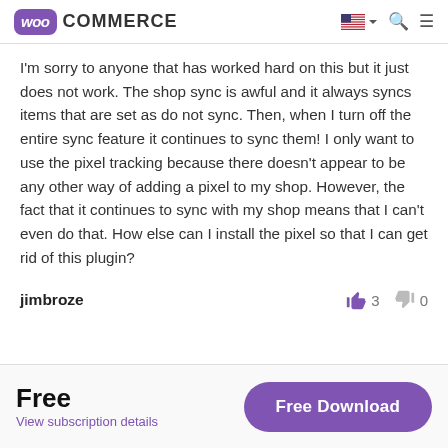WooCommerce
I'm sorry to anyone that has worked hard on this but it just does not work. The shop sync is awful and it always syncs items that are set as do not sync. Then, when I turn off the entire sync feature it continues to sync them! I only want to use the pixel tracking because there doesn't appear to be any other way of adding a pixel to my shop. However, the fact that it continues to sync with my shop means that I can't even do that. How else can I install the pixel so that I can get rid of this plugin?
jimbroze  👍 3  👎 0
Free
View subscription details
Free Download